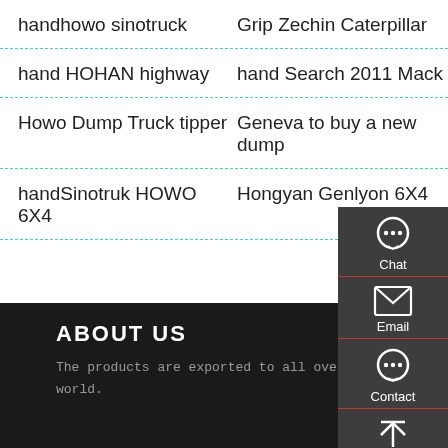handhowo sinotruck
Grip Zechin Caterpillar
hand HOHAN highway
hand Search 2011 Mack
Howo Dump Truck tipper
Geneva to buy a new dump
handSinotruk HOWO 6X4
Hongyan Genlyon 6X4
ABOUT US
The products are exported to all over the world.